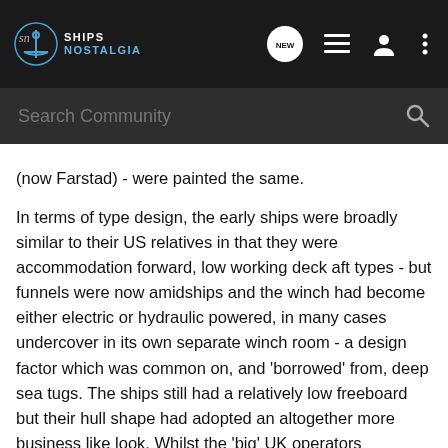[Figure (screenshot): Ships Nostalgia website navigation bar with logo, NEW chat icon, list icon, user icon, and three-dot menu icon]
[Figure (screenshot): Dark search bar with 'Search Community' placeholder text and magnifying glass icon]
(now Farstad) - were painted the same.
In terms of type design, the early ships were broadly similar to their US relatives in that they were accommodation forward, low working deck aft types - but funnels were now amidships and the winch had become either electric or hydraulic powered, in many cases undercover in its own separate winch room - a design factor which was common on, and 'borrowed' from, deep sea tugs. The ships still had a relatively low freeboard but their hull shape had adopted an altogether more business like look. Whilst the 'big' UK operators dominated the scene, other companies began to appear as the 'boom' attraction of the industry developed and the need for marine support became widespread. A lot of the US owner-operators began to discard their early tonnage and go in for ships whose capabilities - and